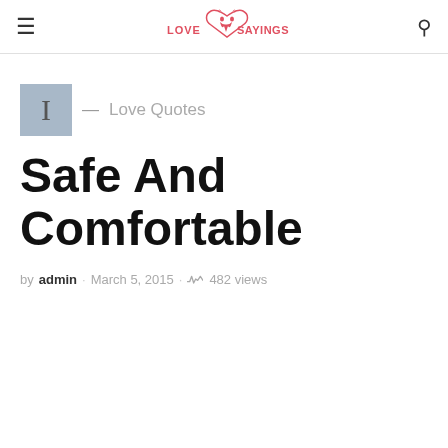Love Sayings — [hamburger menu and search icon]
I — Love Quotes
Safe And Comfortable
by admin · March 5, 2015 · 482 views